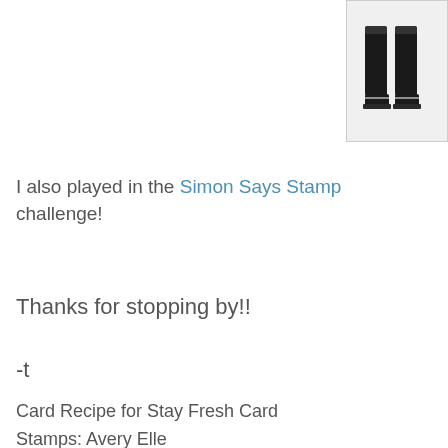[Figure (photo): Product photo of black boots/socks on white background, positioned in top-right corner]
I also played in the Simon Says Stamp challenge!
Thanks for stopping by!!
-t
Card Recipe for Stay Fresh Card
Stamps: Avery Elle
Paper: White(Michaels), Patterned Paper(Amy Ta...
Inks: IMAGINE Crafts, Copic Markers
Embellishments: Sequins (Butterfly Reflection...